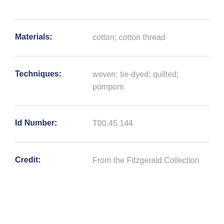Materials: cotton; cotton thread
Techniques: woven; tie-dyed; quilted; pompom
Id Number: T00.45.144
Credit: From the Fitzgerald Collection